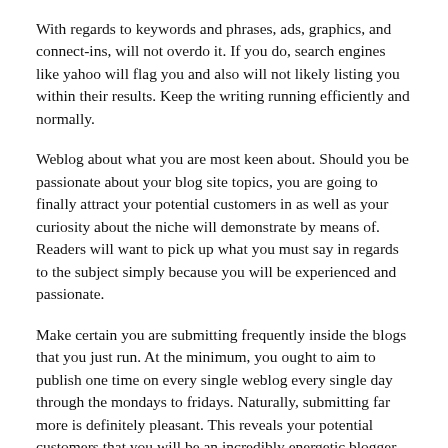With regards to keywords and phrases, ads, graphics, and connect-ins, will not overdo it. If you do, search engines like yahoo will flag you and also will not likely listing you within their results. Keep the writing running efficiently and normally.
Weblog about what you are most keen about. Should you be passionate about your blog site topics, you are going to finally attract your potential customers in as well as your curiosity about the niche will demonstrate by means of. Readers will want to pick up what you must say in regards to the subject simply because you will be experienced and passionate.
Make certain you are submitting frequently inside the blogs that you just run. At the minimum, you ought to aim to publish one time on every single weblog every single day through the mondays to fridays. Naturally, submitting far more is definitely pleasant. This reveals your potential customers that you will be an incredibly energetic blogger, that will make them prone to maintain checking out your blogs.
When setting up a website the most important element is figuring out the purpose of the blog site. Do you need to submit your innovative composing? Or, possibly you need to weblog as